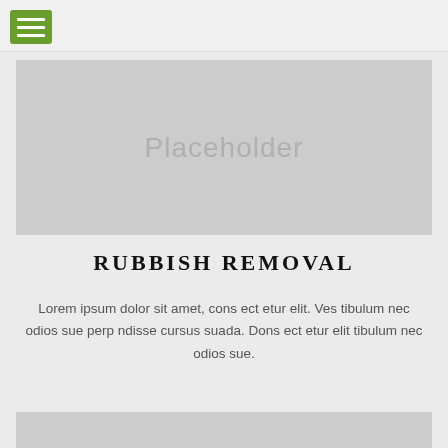[Figure (illustration): Gray placeholder image box with the text 'Placeholder' in light gray]
RUBBISH REMOVAL
Lorem ipsum dolor sit amet, cons ect etur elit. Ves tibulum nec odios sue perp ndisse cursus suada. Dons ect etur elit tibulum nec odios sue.
[Figure (illustration): Gray placeholder image box (partially visible at bottom of page)]